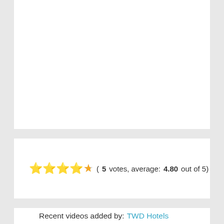[Figure (other): White card area at top, blank content]
⭐⭐⭐⭐⭐☆ (5 votes, average: 4.80 out of 5)
Recent videos added by: TWD Hotels